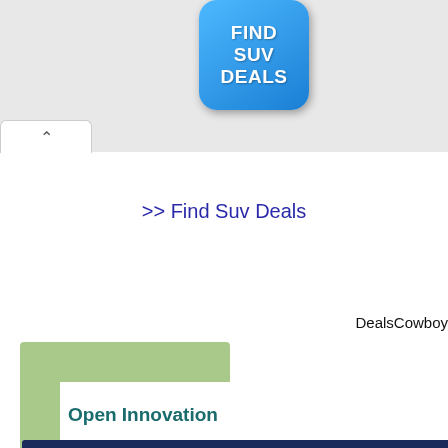[Figure (other): Blue rounded square button with text FIND SUV DEALS in white bold letters]
>> Find Suv Deals
DealsCowboy
[Figure (other): Open Innovation diagram partially visible showing green decorative block, title 'Open Innovation', dark navy horizontal bar, and a table with columns: Idea Generation, Selection, Execution, Commercialization, with dashed vertical lines and a curve graph below]
Open Innovation